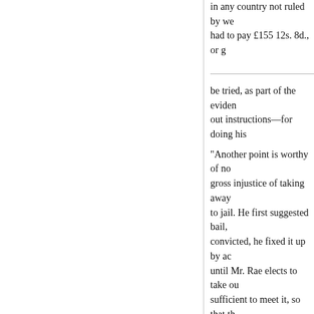in any country not ruled by we had to pay £155 12s. 8d., or g
be tried, as part of the eviden out instructions—for doing his
"Another point is worthy of no gross injustice of taking away to jail. He first suggested bail, convicted, he fixed it up by ac until Mr. Rae elects to take ou sufficient to meet it, so that th is administered in New South
"As you are aware, we consul Sydney, where subsequently
"We intend to see that every m